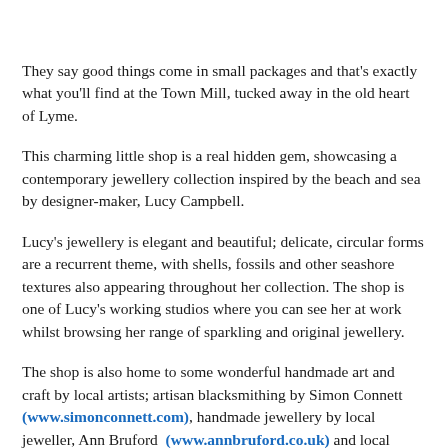They say good things come in small packages and that's exactly what you'll find at the Town Mill, tucked away in the old heart of Lyme.
This charming little shop is a real hidden gem, showcasing a contemporary jewellery collection inspired by the beach and sea by designer-maker, Lucy Campbell.
Lucy's jewellery is elegant and beautiful; delicate, circular forms are a recurrent theme, with shells, fossils and other seashore textures also appearing throughout her collection. The shop is one of Lucy's working studios where you can see her at work whilst browsing her range of sparkling and original jewellery.
The shop is also home to some wonderful handmade art and craft by local artists; artisan blacksmithing by Simon Connett (www.simonconnett.com), handmade jewellery by local jeweller, Ann Bruford (www.annbruford.co.uk) and local jeweller, Natalie Manifold (www.seragaengland.com) and colourful original paintings